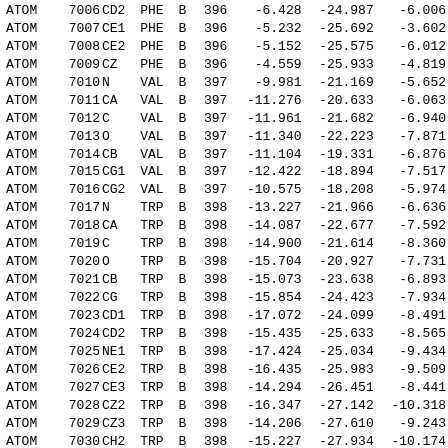| type | serial | name | resName | chainID | resSeq | x | y | z |
| --- | --- | --- | --- | --- | --- | --- | --- | --- |
| ATOM | 7006 | CD2 | PHE | B | 396 | -6.428 | -24.987 | -6.006 |
| ATOM | 7007 | CE1 | PHE | B | 396 | -5.232 | -25.692 | -3.602 |
| ATOM | 7008 | CE2 | PHE | B | 396 | -5.152 | -25.575 | -6.012 |
| ATOM | 7009 | CZ | PHE | B | 396 | -4.559 | -25.933 | -4.819 |
| ATOM | 7010 | N | VAL | B | 397 | -9.981 | -21.169 | -5.652 |
| ATOM | 7011 | CA | VAL | B | 397 | -11.276 | -20.633 | -6.063 |
| ATOM | 7012 | C | VAL | B | 397 | -11.961 | -21.682 | -6.940 |
| ATOM | 7013 | O | VAL | B | 397 | -11.340 | -22.223 | -7.871 |
| ATOM | 7014 | CB | VAL | B | 397 | -11.104 | -19.331 | -6.876 |
| ATOM | 7015 | CG1 | VAL | B | 397 | -12.422 | -18.894 | -7.517 |
| ATOM | 7016 | CG2 | VAL | B | 397 | -10.575 | -18.208 | -5.974 |
| ATOM | 7017 | N | TRP | B | 398 | -13.227 | -21.966 | -6.636 |
| ATOM | 7018 | CA | TRP | B | 398 | -14.087 | -22.677 | -7.592 |
| ATOM | 7019 | C | TRP | B | 398 | -14.900 | -21.614 | -8.360 |
| ATOM | 7020 | O | TRP | B | 398 | -15.704 | -20.927 | -7.731 |
| ATOM | 7021 | CB | TRP | B | 398 | -15.073 | -23.638 | -6.893 |
| ATOM | 7022 | CG | TRP | B | 398 | -15.854 | -24.423 | -7.934 |
| ATOM | 7023 | CD1 | TRP | B | 398 | -17.072 | -24.099 | -8.491 |
| ATOM | 7024 | CD2 | TRP | B | 398 | -15.435 | -25.633 | -8.565 |
| ATOM | 7025 | NE1 | TRP | B | 398 | -17.424 | -25.034 | -9.434 |
| ATOM | 7026 | CE2 | TRP | B | 398 | -16.435 | -25.983 | -9.509 |
| ATOM | 7027 | CE3 | TRP | B | 398 | -14.294 | -26.451 | -8.441 |
| ATOM | 7028 | CZ2 | TRP | B | 398 | -16.347 | -27.142 | -10.318 |
| ATOM | 7029 | CZ3 | TRP | B | 398 | -14.206 | -27.610 | -9.243 |
| ATOM | 7030 | CH2 | TRP | B | 398 | -15.227 | -27.934 | -10.174 |
| ATOM | 7031 | N | SER | B | 399 | -14.745 | -21.469 | -9.687 |
| ATOM | 7032 | CA | SER | B | 399 | -13.887 | -22.275 | -10.545 |
| ATOM | 7033 | C | SER | B | 399 | -13.141 | -21.333 | -11.478 |
| ATOM | 7034 | O | SER | B | 399 | -13.452 | -20.127 | -11.558 |
| ATOM | 7035 | CB | SER | B | 399 | -14.742 | -23.260 | -11.380 |